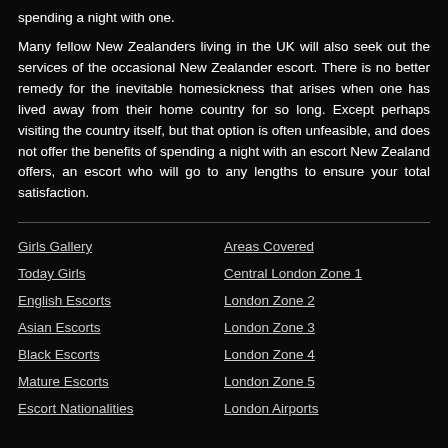spending a night with one.
Many fellow New Zealanders living in the UK will also seek out the services of the occasional New Zealander escort. There is no better remedy for the inevitable homesickness that arises when one has lived away from their home country for so long. Except perhaps visiting the country itself, but that option is often unfeasible, and does not offer the benefits of spending a night with an escort New Zealand offers, an escort who will go to any lengths to ensure your total satisfaction.
Girls Gallery
Today Girls
English Escorts
Asian Escorts
Black Escorts
Mature Escorts
Escort Nationalities
Areas Covered
Central London Zone 1
London Zone 2
London Zone 3
London Zone 4
London Zone 5
London Airports